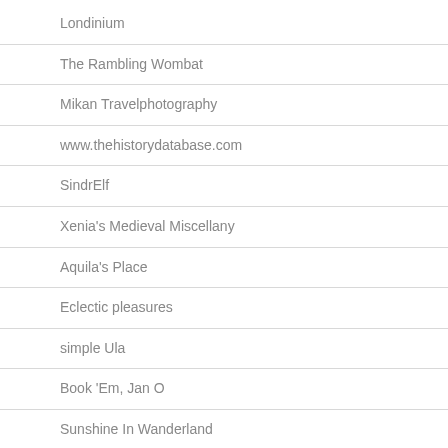Londinium
The Rambling Wombat
Mikan Travelphotography
www.thehistorydatabase.com
SindrElf
Xenia's Medieval Miscellany
Aquila's Place
Eclectic pleasures
simple Ula
Book 'Em, Jan O
Sunshine In Wanderland